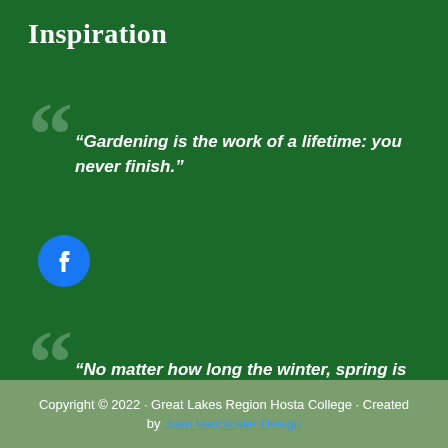Inspiration
“Gardening is the work of a lifetime: you never finish.”
[Figure (logo): Facebook icon: blue circle with white Facebook 'f' logo]
“No matter how long the winter, spring is sure to follow.”
Copyright © 2022 · Great Lakes Region Hosta College · Created by Joan VanSickler Design